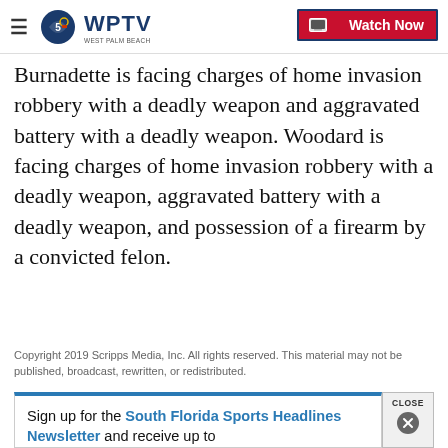WPTV West Palm Beach — Watch Now
Burnadette is facing charges of home invasion robbery with a deadly weapon and aggravated battery with a deadly weapon. Woodard is facing charges of home invasion robbery with a deadly weapon, aggravated battery with a deadly weapon, and possession of a firearm by a convicted felon.
Copyright 2019 Scripps Media, Inc. All rights reserved. This material may not be published, broadcast, rewritten, or redistributed.
Sign up for the South Florida Sports Headlines Newsletter and receive up to